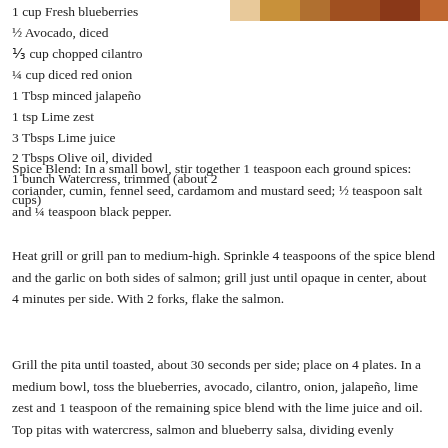[Figure (photo): Food photo strip at top right of page showing grilled salmon dish with pita and blueberry salsa]
1 cup Fresh blueberries
½ Avocado, diced
⅓ cup chopped cilantro
¼ cup diced red onion
1 Tbsp minced jalapeño
1 tsp Lime zest
3 Tbsps Lime juice
2 Tbsps Olive oil, divided
1 bunch Watercress, trimmed (about 2 cups)
Spice Blend: In a small bowl, stir together 1 teaspoon each ground spices: coriander, cumin, fennel seed, cardamom and mustard seed; ½ teaspoon salt and ¼ teaspoon black pepper.
Heat grill or grill pan to medium-high. Sprinkle 4 teaspoons of the spice blend and the garlic on both sides of salmon; grill just until opaque in center, about 4 minutes per side. With 2 forks, flake the salmon.
Grill the pita until toasted, about 30 seconds per side; place on 4 plates. In a medium bowl, toss the blueberries, avocado, cilantro, onion, jalapeño, lime zest and 1 teaspoon of the remaining spice blend with the lime juice and oil. Top pitas with watercress, salmon and blueberry salsa, dividing evenly